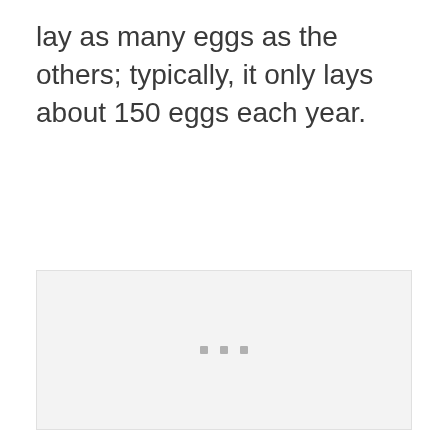lay as many eggs as the others; typically, it only lays about 150 eggs each year.
[Figure (photo): A light gray placeholder image box with three small gray square dots centered in the lower portion, indicating a loading or placeholder image.]